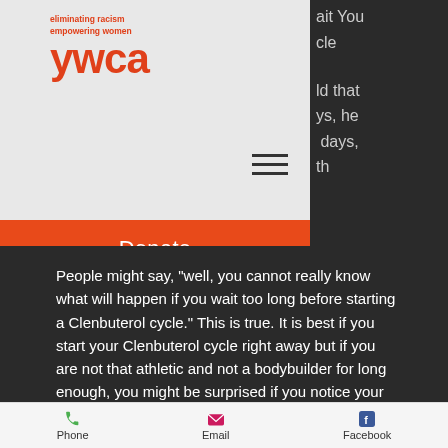[Figure (logo): YWCA logo with tagline 'eliminating racism empowering women' in orange/red, with large red 'ywca' wordmark below]
Donate
People might say, "well, you cannot really know what will happen if you wait too long before starting a Clenbuterol cycle." This is true. It is best if you start your Clenbuterol cycle right away but if you are not that athletic and not a bodybuilder for long enough, you might be surprised if you notice your arms and legs just getting pudgy. So, be advised to just do a short rest period after your weightlifting workouts and get back into
Phone  Email  Facebook